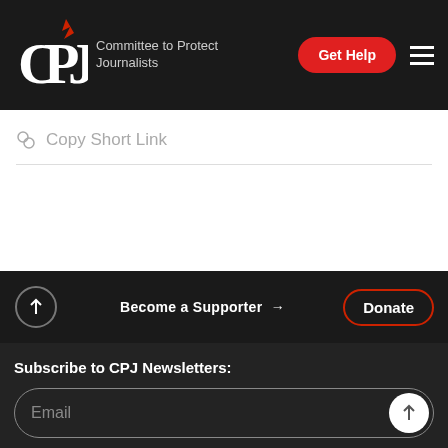CPJ Committee to Protect Journalists | Get Help
Copy Short Link
Become a Supporter → Donate
Subscribe to CPJ Newsletters:
Email
Contact Us